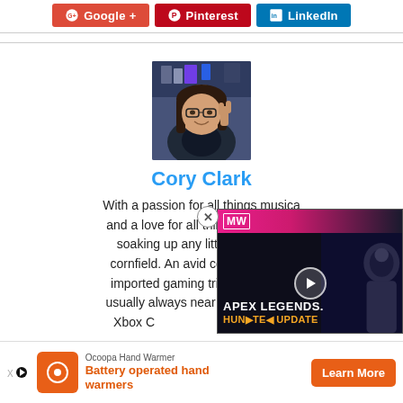[Figure (other): Social share buttons for Google+, Pinterest, and LinkedIn]
[Figure (photo): Profile photo of Cory Clark — person with long hair and glasses making a peace sign, with gaming setup in background]
Cory Clark
With a passion for all things musical and a love for all things gacha, Co soaking up any little gem to co cornfield. An avid collector of limi imported gaming trinkets he's ab usually always near his trusty gam Xbox C off his
[Figure (screenshot): Video ad overlay: Apex Legends Hunter Update video thumbnail with play button, MW logo]
[Figure (other): Ocoopa Hand Warmer advertisement banner: Battery operated hand warmers, Learn More button]